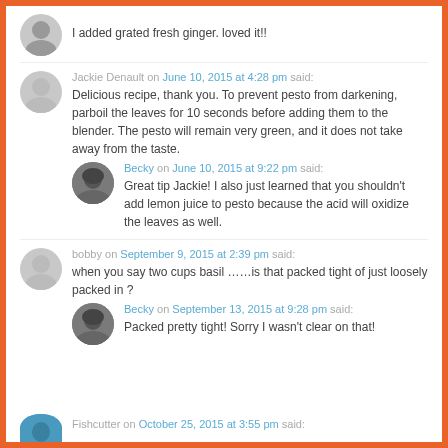I added grated fresh ginger. loved it!!
Jackie Denault on June 10, 2015 at 4:28 pm said: Delicious recipe, thank you. To prevent pesto from darkening, parboil the leaves for 10 seconds before adding them to the blender. The pesto will remain very green, and it does not take away from the taste.
Becky on June 10, 2015 at 9:22 pm said: Great tip Jackie! I also just learned that you shouldn't add lemon juice to pesto because the acid will oxidize the leaves as well.
bobby on September 9, 2015 at 2:39 pm said: when you say two cups basil ……is that packed tight of just loosely packed in ?
Becky on September 13, 2015 at 9:28 pm said: Packed pretty tight! Sorry I wasn't clear on that!
Fishcutter on October 25, 2015 at 3:55 pm said: